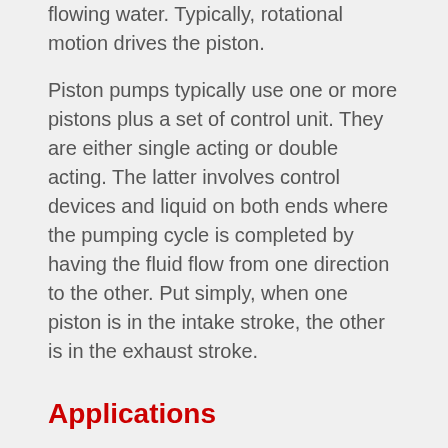flowing water. Typically, rotational motion drives the piston.
Piston pumps typically use one or more pistons plus a set of control unit. They are either single acting or double acting. The latter involves control devices and liquid on both ends where the pumping cycle is completed by having the fluid flow from one direction to the other. Put simply, when one piston is in the intake stroke, the other is in the exhaust stroke.
Applications
Paint Handling
Pastry Handling
Powering Heavy Machines
General Industrial Applications